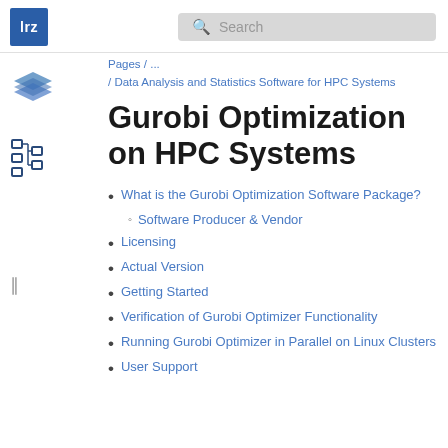lrz | Search
[Figure (logo): LRZ logo - blue square with white 'lrz' text]
[Figure (illustration): Stack/layers icon in blue]
[Figure (illustration): Hierarchy/tree icon in dark blue]
Pages / ...
/ Data Analysis and Statistics Software for HPC Systems
Gurobi Optimization on HPC Systems
What is the Gurobi Optimization Software Package?
Software Producer & Vendor
Licensing
Actual Version
Getting Started
Verification of Gurobi Optimizer Functionality
Running Gurobi Optimizer in Parallel on Linux Clusters
User Support